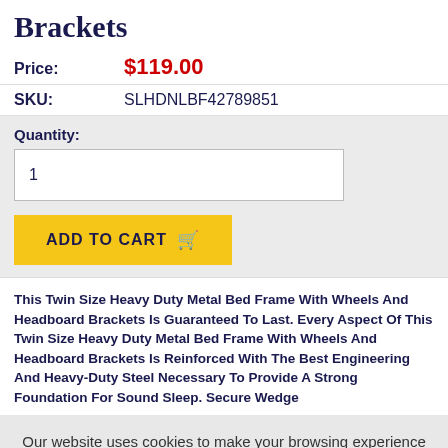Brackets
Price:   $119.00
SKU:   SLHDNLBF42789851
Quantity:
1
ADD TO CART
This Twin Size Heavy Duty Metal Bed Frame With Wheels And Headboard Brackets Is Guaranteed To Last. Every Aspect Of This Twin Size Heavy Duty Metal Bed Frame With Wheels And Headboard Brackets Is Reinforced With The Best Engineering And Heavy-Duty Steel Necessary To Provide A Strong Foundation For Sound Sleep. Secure Wedge
Our website uses cookies to make your browsing experience better. By using our site you agree to our use of cookies.
Learn More
I Agree